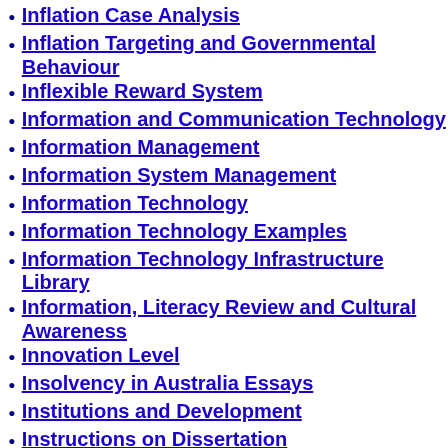Inflation Case Analysis
Inflation Targeting and Governmental Behaviour
Inflexible Reward System
Information and Communication Technology
Information Management
Information System Management
Information Technology
Information Technology Examples
Information Technology Infrastructure Library
Information, Literacy Review and Cultural Awareness
Innovation Level
Insolvency in Australia Essays
Institutions and Development
Instructions on Dissertation
Insulin Therapy Sample Case Studies
Integrated Marketing Communication
Integrative Project In Leisure & Tourism
Intellectual Disabilities
Intelligence Theories